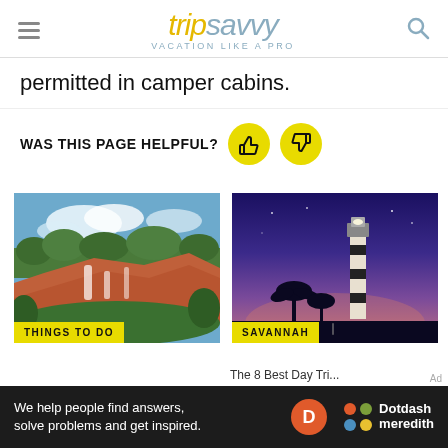tripsavvy VACATION LIKE A PRO
permitted in camper cabins.
WAS THIS PAGE HELPFUL?
[Figure (photo): Outdoor landscape showing red clay ravines and waterfalls with green trees and blue sky. Label: THINGS TO DO]
[Figure (photo): Lighthouse at dusk/twilight with palm trees silhouetted against purple and blue sky. Label: SAVANNAH]
[Figure (logo): Dotdash Meredith advertisement bar: 'We help people find answers, solve problems and get inspired.' with Dotdash Meredith logo]